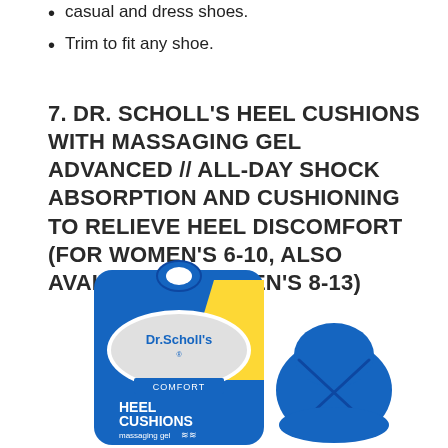casual and dress shoes.
Trim to fit any shoe.
7. DR. SCHOLL'S HEEL CUSHIONS WITH MASSAGING GEL ADVANCED // ALL-DAY SHOCK ABSORPTION AND CUSHIONING TO RELIEVE HEEL DISCOMFORT (FOR WOMEN'S 6-10, ALSO AVAILABLE FOR MEN'S 8-13)
[Figure (photo): Dr. Scholl's Heel Cushions with Massaging Gel product packaging (blue and yellow box) and a standalone blue heel cushion product shown side by side.]